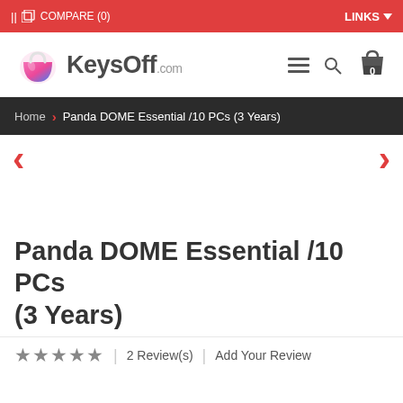|| COMPARE (0)   LINKS
[Figure (logo): KeysOff.com logo with colorful handbag icon]
Home > Panda DOME Essential /10 PCs (3 Years)
Panda DOME Essential /10 PCs (3 Years)
★★★★★  |  2 Review(s)  |  Add Your Review